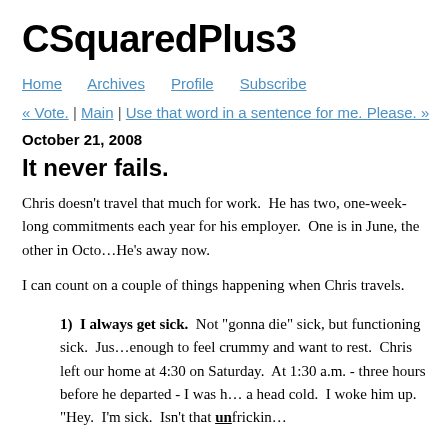CSquaredPlus3
Home   Archives   Profile   Subscribe
« Vote. | Main | Use that word in a sentence for me. Please. »
October 21, 2008
It never fails.
Chris doesn't travel that much for work.  He has two, one-week-long commitments each year for his employer.  One is in June, the other in Octo... He's away now.
I can count on a couple of things happening when Chris travels.
1)  I always get sick.  Not "gonna die" sick, but functioning sick.  Just enough to feel crummy and want to rest.  Chris left our home at 4:30 on Saturday.  At 1:30 a.m. - three hours before he departed - I was h... a head cold.  I woke him up.  "Hey.  I'm sick.  Isn't that unfrickin...